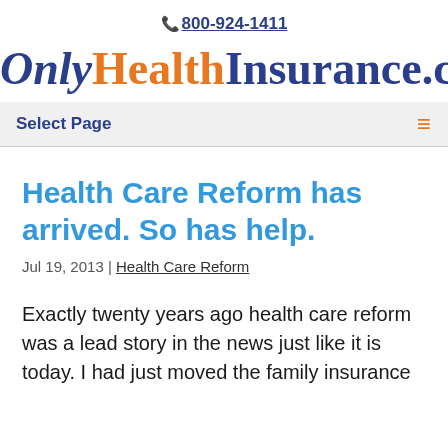📞 800-924-1411
OnlyHealthInsurance.com
Select Page
Health Care Reform has arrived. So has help.
Jul 19, 2013 | Health Care Reform
Exactly twenty years ago health care reform was a lead story in the news just like it is today. I had just moved the family insurance